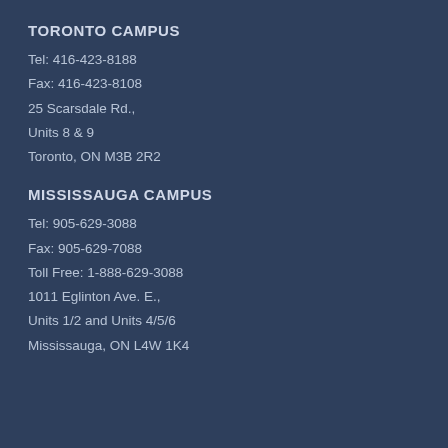TORONTO CAMPUS
Tel: 416-423-8188
Fax: 416-423-8108
25 Scarsdale Rd.,
Units 8 & 9
Toronto, ON M3B 2R2
MISSISSAUGA CAMPUS
Tel: 905-629-3088
Fax: 905-629-7088
Toll Free: 1-888-629-3088
1011 Eglinton Ave. E.,
Units 1/2 and Units 4/5/6
Mississauga, ON L4W 1K4